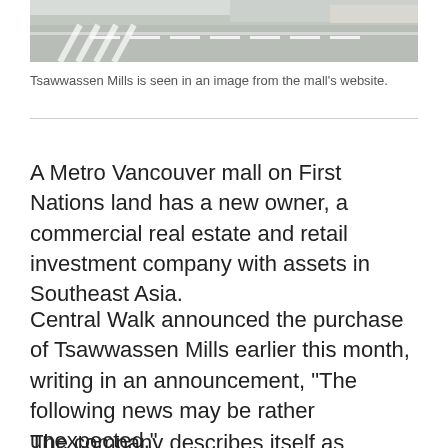[Figure (photo): Aerial or ground-level photo of Tsawwassen Mills mall exterior showing parking lot and road markings]
Tsawwassen Mills is seen in an image from the mall's website.
A Metro Vancouver mall on First Nations land has a new owner, a commercial real estate and retail investment company with assets in Southeast Asia.
Central Walk announced the purchase of Tsawwassen Mills earlier this month, writing in an announcement, "The following news may be rather unexpected."
The company describes itself as specializing in